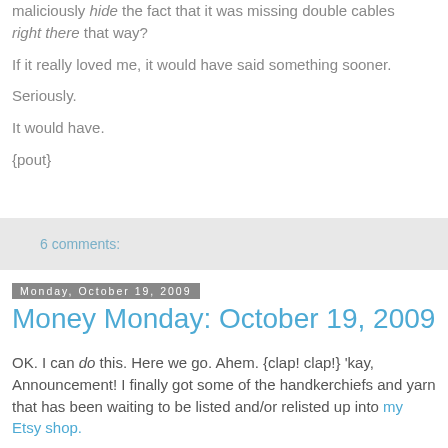maliciously hide the fact that it was missing double cables right there that way?
If it really loved me, it would have said something sooner.
Seriously.
It would have.
{pout}
6 comments:
Monday, October 19, 2009
Money Monday: October 19, 2009
OK. I can do this. Here we go. Ahem. {clap! clap!} ‘kay, Announcement! I finally got some of the handkerchiefs and yarn that has been waiting to be listed and/or relisted up into my Etsy shop.